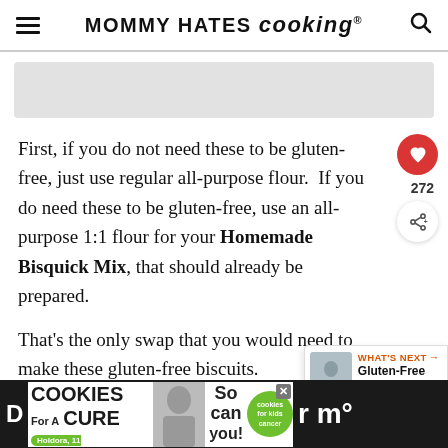MOMMY HATES cooking®
[Figure (other): Gray placeholder image box]
First, if you do not need these to be gluten-free, just use regular all-purpose flour.  If you do need these to be gluten-free, use an all-purpose 1:1 flour for your Homemade Bisquick Mix, that should already be prepared.
That's the only swap that you would need to make these gluten-free biscuits.
[Figure (other): What's Next: Gluten-Free Homemade... thumbnail with small photo]
[Figure (other): Advertisement banner: I Bake COOKIES For A CURE - Holdora, 11 Cancer Survivor - So can you! - cookies for kids cancer]